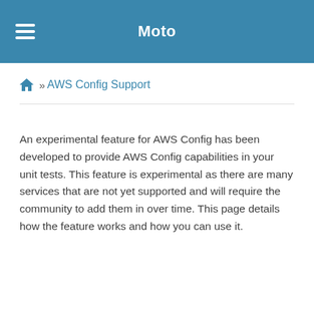Moto
AWS Config Support
An experimental feature for AWS Config has been developed to provide AWS Config capabilities in your unit tests. This feature is experimental as there are many services that are not yet supported and will require the community to add them in over time. This page details how the feature works and how you can use it.